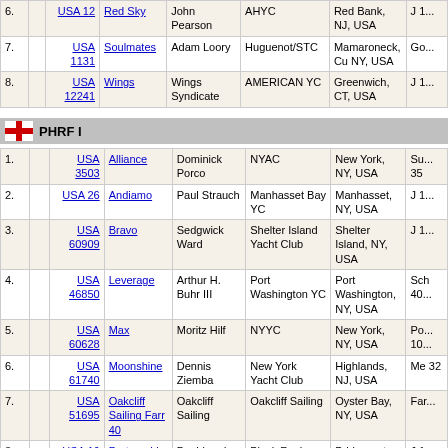| # |  | Sail | Boat | Skipper | Club | City | Class |
| --- | --- | --- | --- | --- | --- | --- | --- |
| 6. |  | USA 12 | Red Sky | John Pearson | AHYC | Red Bank, NJ, USA | J 1... |
| 7. |  | USA 1131 | Soulmates | Adam Loory | Huguenot/STC | Mamaroneck, Cu NY, USA | Go... |
| 8. |  | USA 12241 | Wings | Wings Syndicate | AMERICAN YC | Greenwich, CT, USA | J 1... |
PHRF I
| # |  | Sail | Boat | Skipper | Club | City | Class |
| --- | --- | --- | --- | --- | --- | --- | --- |
| 1. |  | USA 3503 | Alliance | Dominick Porco | NYAC | New York, NY, USA | Su... 35 |
| 2. |  | USA 26 | Andiamo | Paul Strauch | Manhasset Bay YC | Manhasset, NY, USA | J 1... |
| 3. |  | USA 60909 | Bravo | Sedgwick Ward | Shelter Island Yacht Club | Shelter Island, NY, USA | J 1... |
| 4. |  | USA 46850 | Leverage | Arthur H. Buhr III | Port Washington YC | Port Washington, NY, USA | Sch 40... |
| 5. |  | USA 60628 | Max | Moritz Hilf | NYYC | New York, NY, USA | Po... 10... |
| 6. |  | USA 61740 | Moonshine | Dennis Ziemba | New York Yacht Club | Highlands, NJ, USA | Me 32 |
| 7. |  | USA 51695 | Oakcliff Sailing Farr 40 | Oakcliff Sailing | Oakcliff Sailing | Oyster Bay, NY, USA | Far... |
| 8. |  | USA 16 | Partnership | David and Maryellen Tortorello | Black Rock Yacht Club | Bridgeport, CT, USA | J 1... |
| 9. |  | USA 32006 | Six Brothers | Chris Kramer | AYC | Danbury, CT, USA | C-3... |
| 10. | 88 | USA 142 | Steamboat | Midn. John Kirk | USMMA | Kings Point, NY, USA | Me 32 |
|  |  | USA ... |  | Marcus |  |  |  |